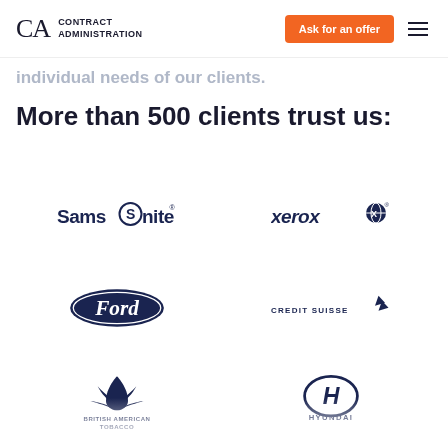CA Contract Administration | Ask for an offer
individual needs of our clients.
More than 500 clients trust us:
[Figure (logo): Samsonite logo]
[Figure (logo): Xerox logo]
[Figure (logo): Ford logo]
[Figure (logo): Credit Suisse logo]
[Figure (logo): British American Tobacco logo]
[Figure (logo): Hyundai logo]